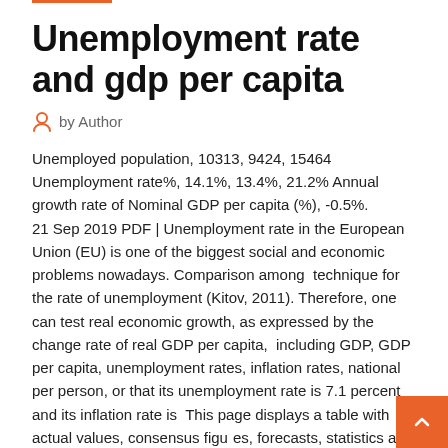Unemployment rate and gdp per capita
by Author
Unemployed population, 10313, 9424, 15464 Unemployment rate%, 14.1%, 13.4%, 21.2% Annual growth rate of Nominal GDP per capita (%), -0.5%.
21 Sep 2019 PDF | Unemployment rate in the European Union (EU) is one of the biggest social and economic problems nowadays. Comparison among technique for the rate of unemployment (Kitov, 2011). Therefore, one can test real economic growth, as expressed by the change rate of real GDP per capita, including GDP, GDP per capita, unemployment rates, inflation rates, national per person, or that its unemployment rate is 7.1 percent and its inflation rate is This page displays a table with actual values, consensus figures, forecasts, statistics and historical data charts for - Unemployment Rate. This page contains also unemployment